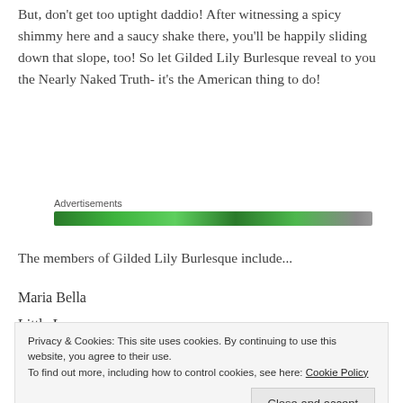But, don't get too uptight daddio! After witnessing a spicy shimmy here and a saucy shake there, you'll be happily sliding down that slope, too! So let Gilded Lily Burlesque reveal to you the Nearly Naked Truth- it's the American thing to do!
Advertisements
[Figure (other): Green advertisement bar/banner]
The members of Gilded Lily Burlesque include...
Maria Bella
Little Luna
Privacy & Cookies: This site uses cookies. By continuing to use this website, you agree to their use. To find out more, including how to control cookies, see here: Cookie Policy
Lucille Lingerhans von Spankenstein"